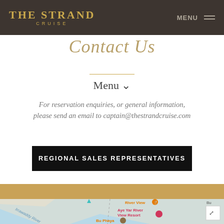THE STRAND CRUISE | MENU
Contact Us
Menu ∨
For reservation enquiries, or general information, please send an email to captain@thestrandcruise.com
REGIONAL SALES REPRESENTATIVES
[Figure (map): Google Maps embed showing Irrawaddy River area with markers for River View, Aye Yar River View Resort, Bu Phaya, and a map expand icon.]